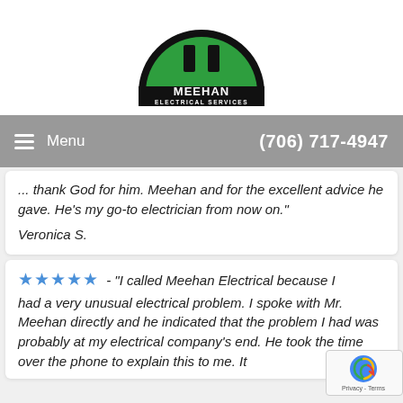[Figure (logo): Meehan Electrical Services logo: semicircle in green with black outline, two vertical bar shapes inside, text MEEHAN ELECTRICAL SERVICES in black bold]
Menu   (706) 717-4947
... thank God for him. Meehan and for the excellent advice he gave. He's my go-to electrician from now on."
Veronica S.
★★★★★ - "I called Meehan Electrical because I had a very unusual electrical problem. I spoke with Mr. Meehan directly and he indicated that the problem I had was probably at my electrical company's end. He took the time over the phone to explain this to me. It